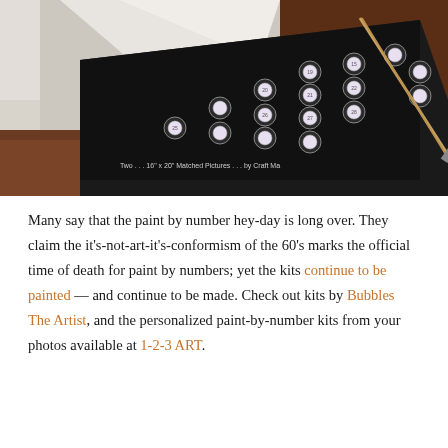[Figure (photo): A black paint-by-number kit box open on a wooden surface, showing numbered paint pots arranged in rows on a dark tray, with a paintbrush resting diagonally. Text on box reads 'Two...16" x 20" Matched Pictures...by Craft Ma[ster]'. A white canvas is visible at the top.]
Many say that the paint by number hey-day is long over. They claim the it's-not-art-it's-conformism of the 60's marks the official time of death for paint by numbers; yet the kits continue to be painted — and continue to be made. Check out kits by Bubbles The Artist, and the personalized paint-by-number kits from your photos available at 1-2-3 ART.